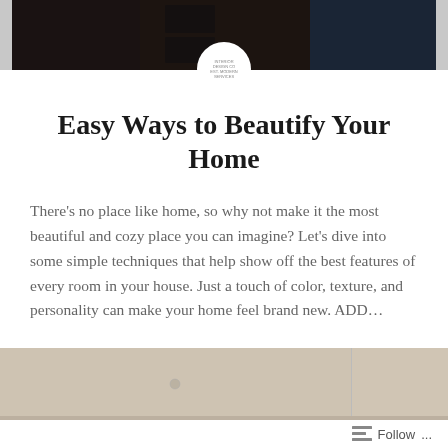[Figure (photo): Dark interior photo at top of page showing a door or entryway]
[Figure (logo): Circular white logo overlay with small text]
Easy Ways to Beautify Your Home
There’s no place like home, so why not make it the most beautiful and cozy place you can imagine? Let’s dive into some simple techniques that help show off the best features of every room in your house. Just a touch of color, texture, and personality can make your home feel brand new. ADD…
READ MORE
[Figure (photo): Interior ceiling photo showing recessed lighting panels]
Follow